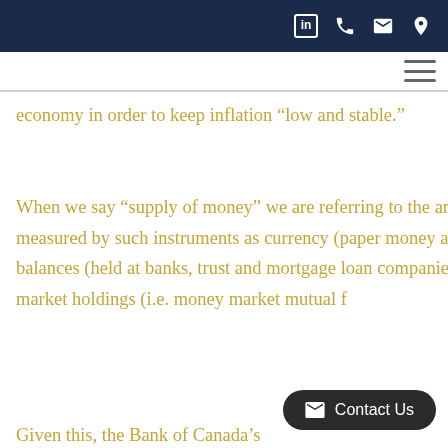[Navigation bar with LinkedIn, phone, email, location icons]
economy in order to keep inflation “low and stable.”
When we say “supply of money” we are referring to the amount of money that is in Canada’s economy as measured by such instruments as currency (paper money and coins), chequing accounts and savings account balances (held at banks, trust and mortgage loan companies, credit unions, and caisses populaires), and money market holdings (i.e. money market mutual f…)
Given this, the Bank of Canada’s